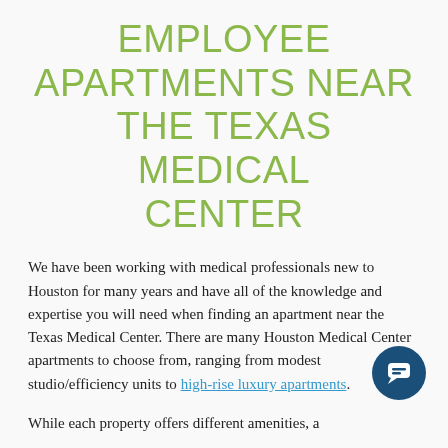EMPLOYEE APARTMENTS NEAR THE TEXAS MEDICAL CENTER
We have been working with medical professionals new to Houston for many years and have all of the knowledge and expertise you will need when finding an apartment near the Texas Medical Center. There are many Houston Medical Center apartments to choose from, ranging from modest studio/efficiency units to high-rise luxury apartments.
While each property offers different amenities, a